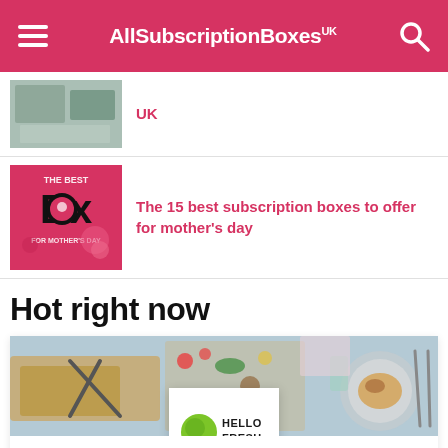AllSubscriptionBoxes UK
UK
The 15 best subscription boxes to offer for mother's day
Hot right now
[Figure (screenshot): HelloFresh banner image showing food ingredients on a blue table top with scissors, cutting boards, vegetables and a plated dish]
[Figure (logo): HelloFresh logo: green lime icon with HELLO FRESH text in bold black]
HelloFresh
Making home cooking easy. From £24.99
HOT RIGHT NOW